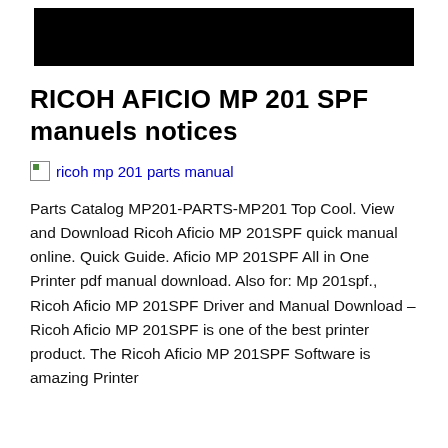[Figure (other): Black header banner image]
RICOH AFICIO MP 201 SPF manuels notices
[Figure (photo): Broken image placeholder labeled 'ricoh mp 201 parts manual']
Parts Catalog MP201-PARTS-MP201 Top Cool. View and Download Ricoh Aficio MP 201SPF quick manual online. Quick Guide. Aficio MP 201SPF All in One Printer pdf manual download. Also for: Mp 201spf., Ricoh Aficio MP 201SPF Driver and Manual Download – Ricoh Aficio MP 201SPF is one of the best printer product. The Ricoh Aficio MP 201SPF Software is amazing Printer